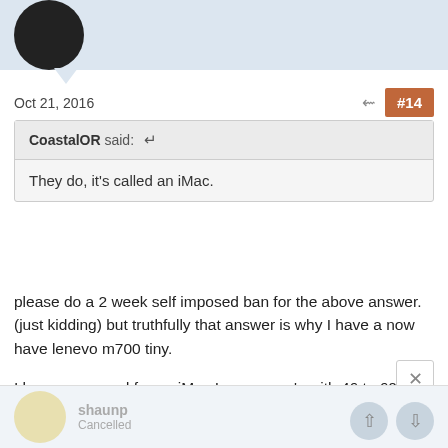Oct 21, 2016  #14
CoastalOR said: ↩
They do, it's called an iMac.
please do a 2 week self imposed ban for the above answer. (just kidding) but truthfully that answer is why I have a now have lenevo m700 tiny.

I have zero need for an iMac I use my pc's with 46 to 60 inch tv screens.
ATC, essiw, mdgm and 3 others
shaunp  Cancelled